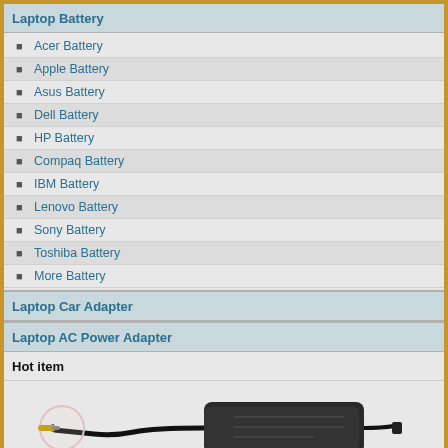Laptop Battery
Acer Battery
Apple Battery
Asus Battery
Dell Battery
HP Battery
Compaq Battery
IBM Battery
Lenovo Battery
Sony Battery
Toshiba Battery
More Battery
Laptop Car Adapter
Laptop AC Power Adapter
Hot item
[Figure (photo): Photo of a laptop AC power adapter with cable and connector tip circled]